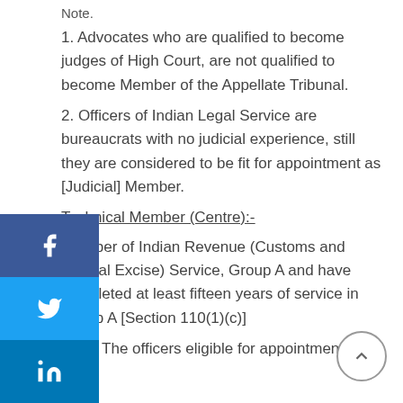Note.
1. Advocates who are qualified to become judges of High Court, are not qualified to become Member of the Appellate Tribunal.
2. Officers of Indian Legal Service are bureaucrats with no judicial experience, still they are considered to be fit for appointment as [Judicial] Member.
Technical Member (Centre):-
Member of Indian Revenue (Customs and Central Excise) Service, Group A and have completed at least fifteen years of service in Group A [Section 110(1)(c)]
Note. The officers eligible for appointment as